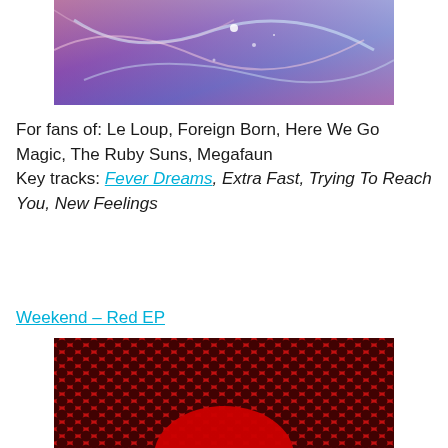[Figure (photo): Album artwork — abstract colorful image with purple, pink and blue swirling tones with white speckles]
For fans of: Le Loup, Foreign Born, Here We Go Magic, The Ruby Suns, Megafaun
Key tracks: Fever Dreams, Extra Fast, Trying To Reach You, New Feelings
Weekend – Red EP
[Figure (photo): Album artwork — close-up of red mesh/honeycomb texture fabric with a red rounded shape visible at the bottom]